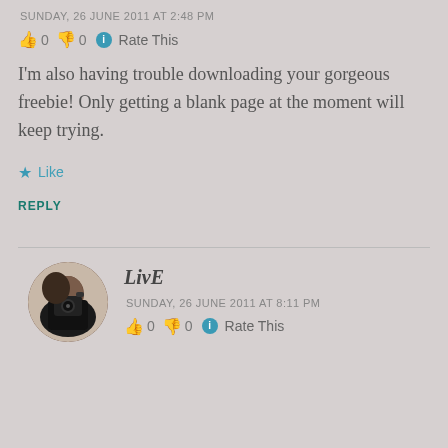SUNDAY, 26 JUNE 2011 AT 2:48 PM
👍 0 👎 0 ℹ Rate This
I'm also having trouble downloading your gorgeous freebie! Only getting a blank page at the moment will keep trying.
★ Like
REPLY
LivE
SUNDAY, 26 JUNE 2011 AT 8:11 PM
👍 0 👎 0 ℹ Rate This